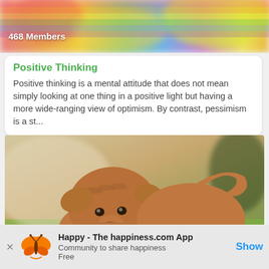[Figure (photo): Colorful blurred background with rainbow colored bracelets/textiles, top banner image]
468 Members
Positive Thinking
Positive thinking is a mental attitude that does not mean simply looking at one thing in a positive light but having a more wide-ranging view of optimism. By contrast, pessimism is a st...
[Figure (photo): Close-up photo of a Shar Pei puppy with wrinkled face lying on grass]
Happy - The happiness.com App
Community to share happiness
Free